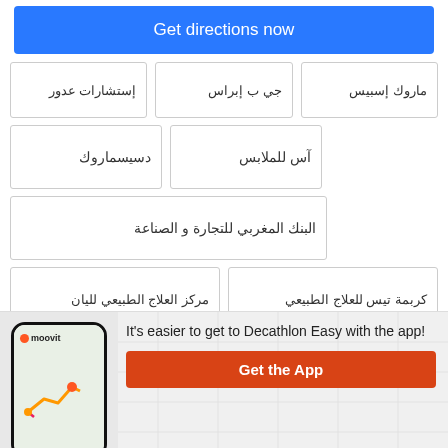Get directions now
إستشارات عدور
جي ب إبراس
ماروك إسبيس
دسيسماروك
آس للملابس
البنك المغربي للتجارة و الصناعة
مركز العلاج الطبيعي لليان
كربمة تيس للعلاج الطبيعي
It's easier to get to Decathlon Easy with the app!
Get the App